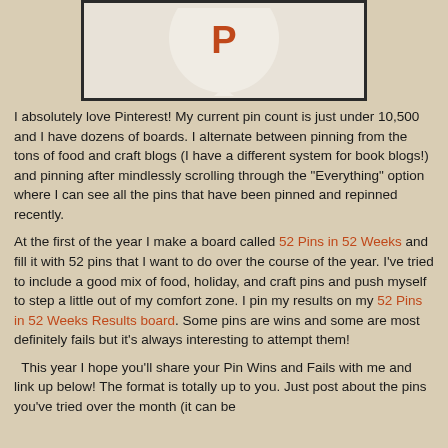[Figure (illustration): Pinterest logo/icon partially visible at top of page inside a bordered box]
I absolutely love Pinterest! My current pin count is just under 10,500 and I have dozens of boards. I alternate between pinning from the tons of food and craft blogs (I have a different system for book blogs!) and pinning after mindlessly scrolling through the "Everything" option where I can see all the pins that have been pinned and repinned recently.
At the first of the year I make a board called 52 Pins in 52 Weeks and fill it with 52 pins that I want to do over the course of the year. I've tried to include a good mix of food, holiday, and craft pins and push myself to step a little out of my comfort zone. I pin my results on my 52 Pins in 52 Weeks Results board. Some pins are wins and some are most definitely fails but it's always interesting to attempt them!
This year I hope you'll share your Pin Wins and Fails with me and link up below! The format is totally up to you. Just post about the pins you've tried over the month (it can be